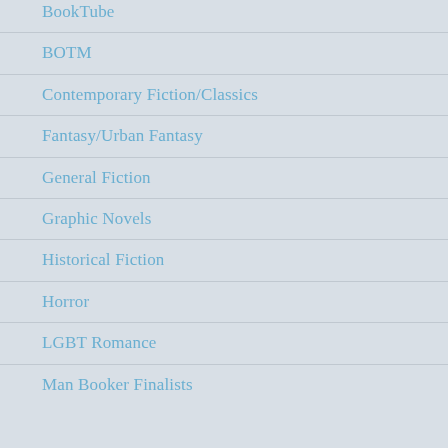BookTube
BOTM
Contemporary Fiction/Classics
Fantasy/Urban Fantasy
General Fiction
Graphic Novels
Historical Fiction
Horror
LGBT Romance
Man Booker Finalists